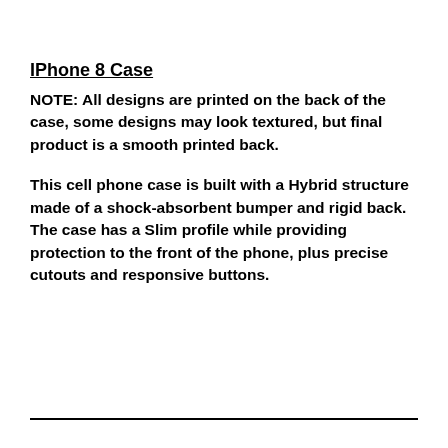IPhone 8 Case
NOTE: All designs are printed on the back of the case, some designs may look textured, but final product is a smooth printed back.
This cell phone case is built with a Hybrid structure made of a shock-absorbent bumper and rigid back. The case has a Slim profile while providing protection to the front of the phone, plus precise cutouts and responsive buttons.